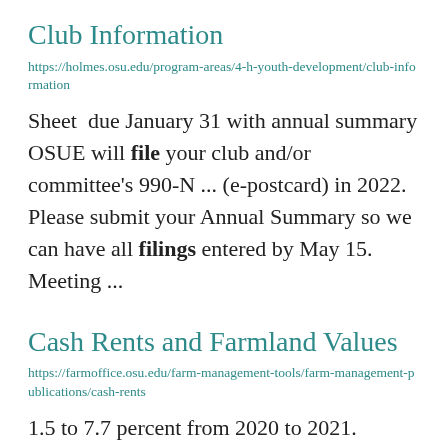Club Information
https://holmes.osu.edu/program-areas/4-h-youth-development/club-information
Sheet  due January 31 with annual summary OSUE will file your club and/or committee's 990-N ... (e-postcard) in 2022. Please submit your Annual Summary so we can have all filings entered by May 15. Meeting ...
Cash Rents and Farmland Values
https://farmoffice.osu.edu/farm-management-tools/farm-management-publications/cash-rents
1.5 to 7.7 percent from 2020 to 2021.
Author: Barry Ward Date published:
August 10, 2022 Download File  A...